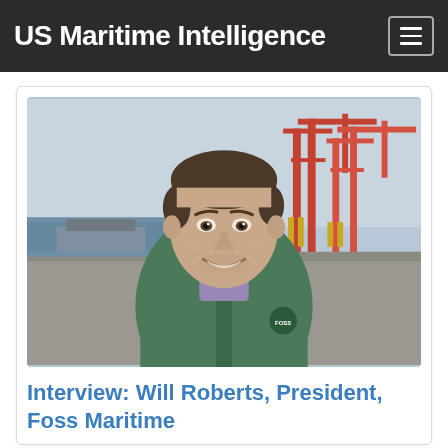US Maritime Intelligence
[Figure (photo): Portrait photo of Will Roberts, President of Foss Maritime, a man in a green quilted Foss jacket with a plaid shirt, smiling, standing outdoors at a port with large red cargo cranes and water visible in the background.]
Interview: Will Roberts, President, Foss Maritime